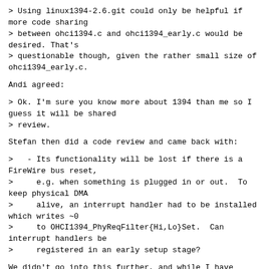> Using linux1394-2.6.git could only be helpful if more code sharing
> between ohci1394.c and ohci1394_early.c would be desired. That's
> questionable though, given the rather small size of ohci1394_early.c.
Andi agreed:
> Ok. I'm sure you know more about 1394 than me so I guess it will be shared
> review.
Stefan then did a code review and came back with:
>   - Its functionality will be lost if there is a FireWire bus reset,
>     e.g. when something is plugged in or out.  To keep physical DMA
>     alive, an interrupt handler had to be installed which writes ~0
>     to OHCI1394_PhyReqFilter{Hi,Lo}Set.  Can interrupt handlers be
>     registered in an early setup stage?
We didn't go into this further, and while I have further ideas on that,
like polling for bus resets in the Oops and Panic
handlers.